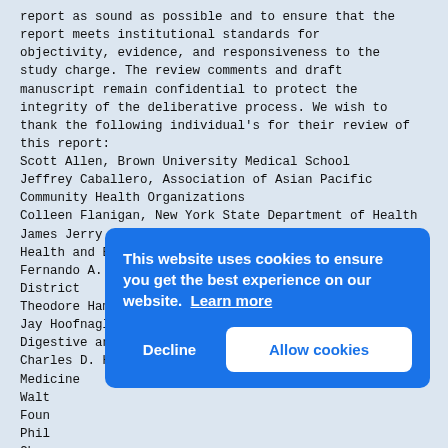report as sound as possible and to ensure that the report meets institutional standards for objectivity, evidence, and responsiveness to the study charge. The review comments and draft manuscript remain confidential to protect the integrity of the deliberative process. We wish to thank the following individual's for their review of this report:
Scott Allen, Brown University Medical School
Jeffrey Caballero, Association of Asian Pacific Community Health Organizations
Colleen Flanigan, New York State Department of Health
James Jerry Gibson, South Carolina Department of Health and Environmental Control
Fernando A. Guerra, San Antonio Metropolitan Health District
Theodore Hammett, Abt Associates Inc.
Jay Hoofnagle, National Institute of Diabetes and Digestive and Kidney Diseases
Charles D. Howell, University of Maryland School of Medicine
Walt...
Foun...
Phil...
Char...
Trac...
Su W...
John...
Although many sugg...
conclusions or recommendations, nor did they
see the final draft of the report before its release
[Figure (screenshot): Cookie consent banner overlay with blue background. Text reads 'This website uses cookies to ensure you get the best experience on our website. Learn more'. Two buttons: 'Decline' (white text) and 'Allow cookies' (blue text on white background).]